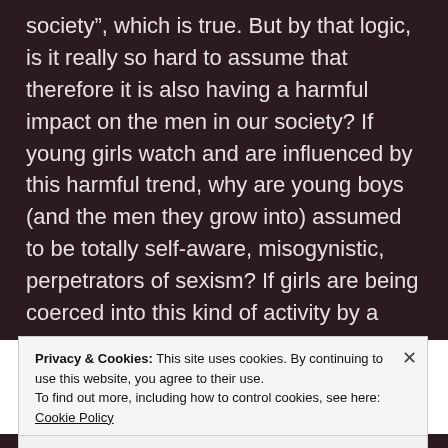society”, which is true. But by that logic, is it really so hard to assume that therefore it is also having a harmful impact on the men in our society? If young girls watch and are influenced by this harmful trend, why are young boys (and the men they grow into) assumed to be totally self-aware, misogynistic, perpetrators of sexism? If girls are being coerced into this kind of activity by a drip-feed of normalising messages, surely that
Privacy & Cookies: This site uses cookies. By continuing to use this website, you agree to their use.
To find out more, including how to control cookies, see here: Cookie Policy
Close and accept